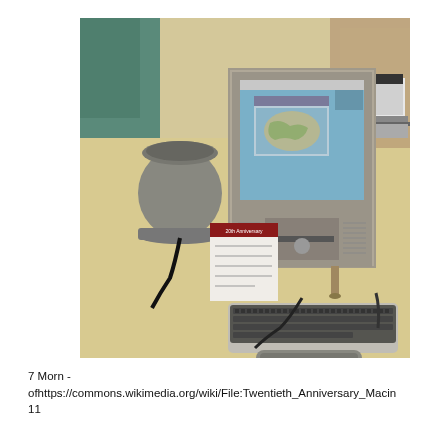[Figure (photo): Photograph of a Twentieth Anniversary Macintosh computer on a desk, showing the flat panel display with a Mac OS desktop visible, a cylindrical speaker/subwoofer to the left, a compact keyboard with trackpad in front, and a small information card reading '20th Anniversary'. Another laptop computer is visible in the background on the right.]
7 Morn -
ofhttps://commons.wikimedia.org/wiki/File:Twentieth_Anniversary_Macin
11